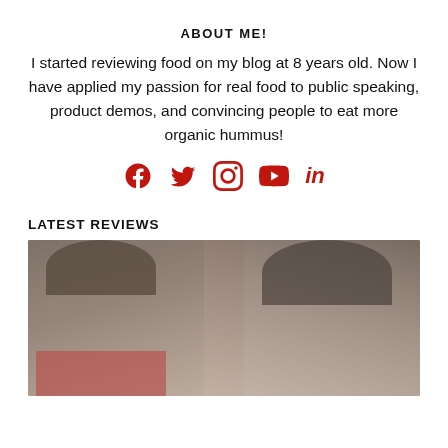ABOUT ME!
I started reviewing food on my blog at 8 years old. Now I have applied my passion for real food to public speaking, product demos, and convincing people to eat more organic hummus!
[Figure (infographic): Social media icons in red: Facebook, Twitter, Instagram, YouTube, LinkedIn]
LATEST REVIEWS
[Figure (photo): Photo of two people (children/young people) smiling closely together, slightly blurred/faded, one wearing a red shirt]